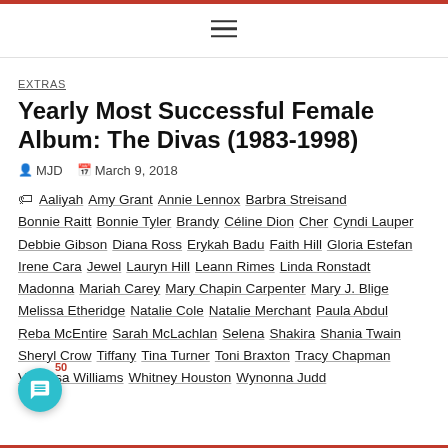≡
EXTRAS
Yearly Most Successful Female Album: The Divas (1983-1998)
MJD  March 9, 2018
Aaliyah  Amy Grant  Annie Lennox  Barbra Streisand  Bonnie Raitt  Bonnie Tyler  Brandy  Céline Dion  Cher  Cyndi Lauper  Debbie Gibson  Diana Ross  Erykah Badu  Faith Hill  Gloria Estefan  Irene Cara  Jewel  Lauryn Hill  Leann Rimes  Linda Ronstadt  Madonna  Mariah Carey  Mary Chapin Carpenter  Mary J. Blige  Melissa Etheridge  Natalie Cole  Natalie Merchant  Paula Abdul  Reba McEntire  Sarah McLachlan  Selena  Shakira  Shania Twain  Sheryl Crow  Tiffany  Tina Turner  Toni Braxton  Tracy Chapman  Vanessa Williams  Whitney Houston  Wynonna Judd